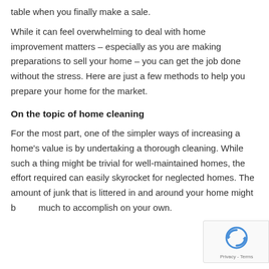table when you finally make a sale.
While it can feel overwhelming to deal with home improvement matters – especially as you are making preparations to sell your home – you can get the job done without the stress. Here are just a few methods to help you prepare your home for the market.
On the topic of home cleaning
For the most part, one of the simpler ways of increasing a home's value is by undertaking a thorough cleaning. While such a thing might be trivial for well-maintained homes, the effort required can easily skyrocket for neglected homes. The amount of junk that is littered in and around your home might b… much to accomplish on your own.